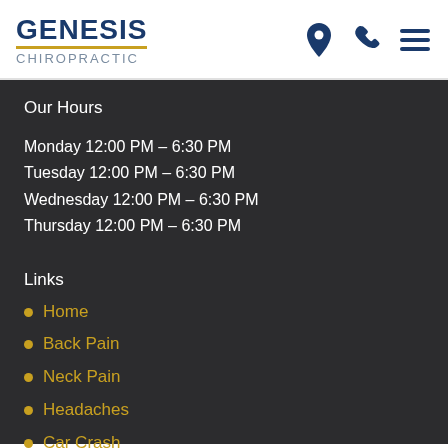[Figure (logo): Genesis Chiropractic logo with dark blue text and gold underline, plus navigation icons (map pin, phone, hamburger menu)]
Our Hours
Monday 12:00 PM – 6:30 PM
Tuesday 12:00 PM – 6:30 PM
Wednesday 12:00 PM – 6:30 PM
Thursday 12:00 PM – 6:30 PM
Links
Home
Back Pain
Neck Pain
Headaches
Car Crash
Contact Us